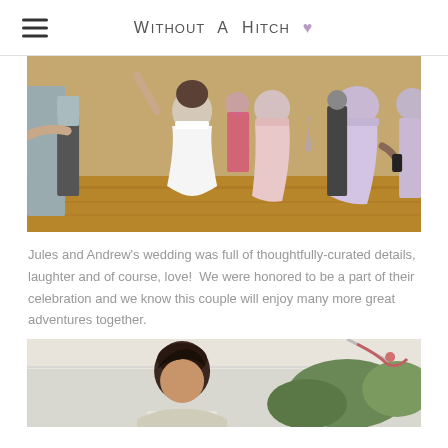Without A Hitch ♥
[Figure (photo): Wedding reception dance floor photo showing bride in white dress dancing with bridesmaids in pink and lavender dresses, guests surrounding them on a wooden floor]
Jules and Andrew's wedding was full of thoughtfully-curated details, laughter and of course, love!  We were honored to be a part of their celebration and we know this couple will enjoy many more great adventures together.
[Figure (photo): Outdoor wedding photo showing a man with dark hair under a tent with greenery in the background]